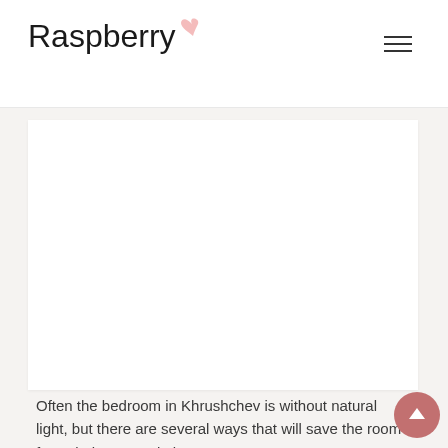Raspberry
[Figure (photo): White rectangular content area / image placeholder on a light grey background]
Often the bedroom in Khrushchev is without natural light, but there are several ways that will save the room from darkness and gloom.